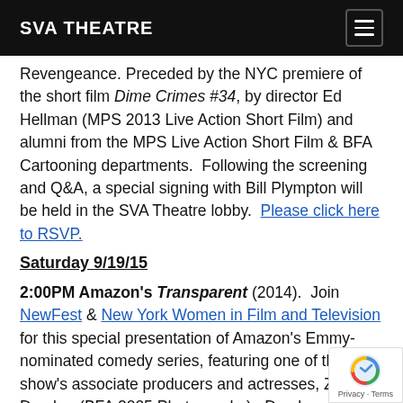SVA THEATRE
Revengeance. Preceded by the NYC premiere of the short film Dime Crimes #34, by director Ed Hellman (MPS 2013 Live Action Short Film) and alumni from the MPS Live Action Short Film & BFA Cartooning departments. Following the screening and Q&A, a special signing with Bill Plympton will be held in the SVA Theatre lobby. Please click here to RSVP.
Saturday 9/19/15
2:00PM Amazon's Transparent (2014). Join NewFest & New York Women in Film and Television for this special presentation of Amazon's Emmy-nominated comedy series, featuring one of the show's associate producers and actresses, Zackary Drucker (BFA 2005 Photography). Drucker, who will be on hand live via Skype from Los Angeles on